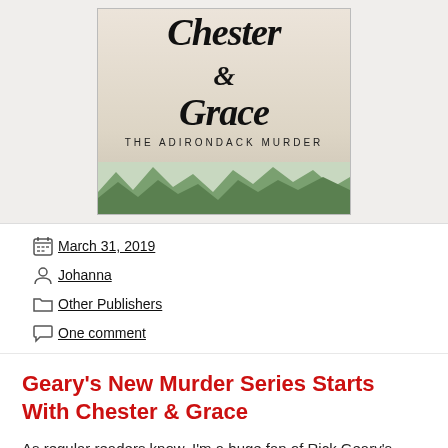[Figure (illustration): Book cover for 'Chester & Grace: The Adirondack Murder' showing stylized script title text and illustrated mountain silhouette at bottom]
March 31, 2019
Johanna
Other Publishers
One comment
Geary's New Murder Series Starts With Chester & Grace
As regular readers know, I'm a huge fan of Rick Geary's work. His precision linework and fascination